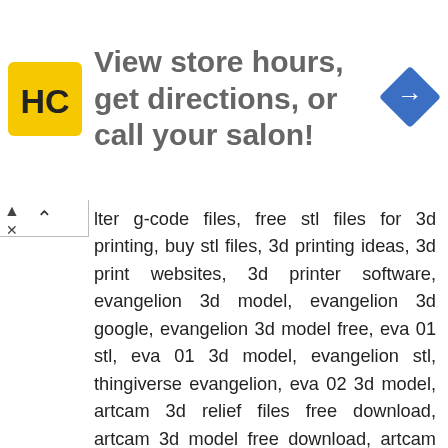[Figure (logo): Advertisement banner with HC yellow logo, text 'View store hours, get directions, or call your salon!' and a blue navigation direction sign icon]
lter g-code files, free stl files for 3d printing, buy stl files, 3d printing ideas, 3d print websites, 3d printer software, evangelion 3d model, evangelion 3d google, evangelion 3d model free, eva 01 stl, eva 01 3d model, evangelion stl, thingiverse evangelion, eva 02 3d model, artcam 3d relief files free download, artcam 3d model free download, artcam 3d door designs free download, cnc router 3d models free download, artcam 2d files free download, artcam file format, 3d relief downloads, artcam 3d design training, 3ds max blocks free download, 3ds max models free download interior, free 3d model sites, free 3d models download, 3d max model free download architecture, free 3d models obj, high quality 3d models free download, 3ds max models library, file autocad, open file dwg online, open autocad files, open autocad bak file online,